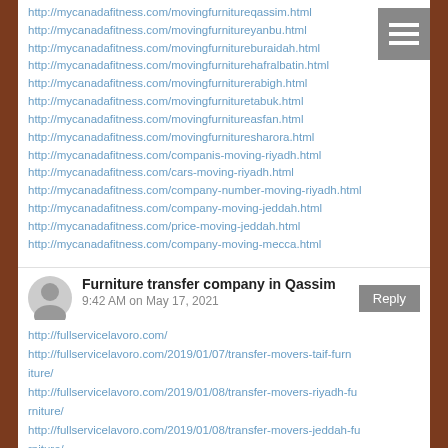http://mycanadafitness.com/movingfurnitureqassim.html
http://mycanadafitness.com/movingfurnitureyanbu.html
http://mycanadafitness.com/movingfurnitureburaidah.html
http://mycanadafitness.com/movingfurniturehafralbatin.html
http://mycanadafitness.com/movingfurniturerabigh.html
http://mycanadafitness.com/movingfurnituretabuk.html
http://mycanadafitness.com/movingfurnitureasfan.html
http://mycanadafitness.com/movingfurnituresharora.html
http://mycanadafitness.com/companis-moving-riyadh.html
http://mycanadafitness.com/cars-moving-riyadh.html
http://mycanadafitness.com/company-number-moving-riyadh.html
http://mycanadafitness.com/company-moving-jeddah.html
http://mycanadafitness.com/price-moving-jeddah.html
http://mycanadafitness.com/company-moving-mecca.html
Furniture transfer company in Qassim
9:42 AM on May 17, 2021
http://fullservicelavoro.com/
http://fullservicelavoro.com/2019/01/07/transfer-movers-taif-furniture/
http://fullservicelavoro.com/2019/01/08/transfer-movers-riyadh-furniture/
http://fullservicelavoro.com/2019/01/08/transfer-movers-jeddah-furniture/
http://fullservicelavoro.com/2019/01/01/transfer-and-movers-furniture-mecca/
http://fullservicelavoro.com/2019/01/07/transfer-movers-madina-fu